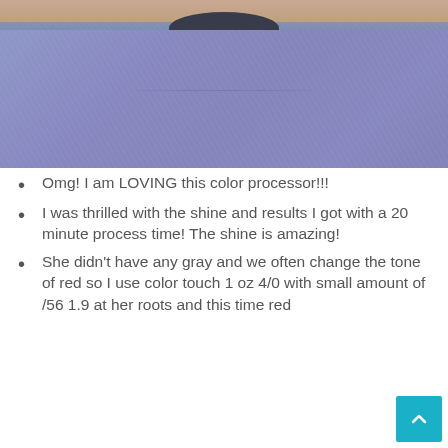[Figure (photo): Close-up photo of a person wearing a heathered blue/grey sweatshirt with a dark navy crew neckline, showing the neckline and upper chest area. The person has reddish hair visible at the top.]
Omg! I am LOVING this color processor!!!
I was thrilled with the shine and results I got with a 20 minute process time! The shine is amazing!
She didn't have any gray and we often change the tone of red so I use color touch 1 oz 4/0 with small amount of /56 1.9 at her roots and this time red